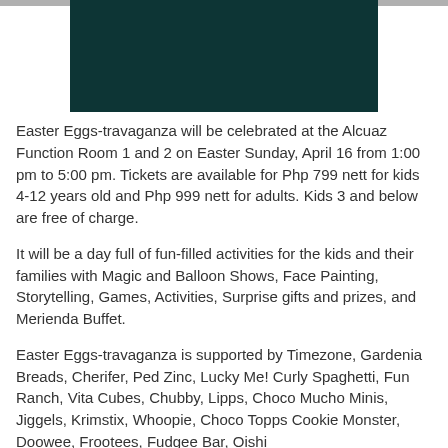[Figure (photo): Dark teal/green rectangular image block, likely an event promotional photo]
Easter Eggs-travaganza will be celebrated at the Alcuaz Function Room 1 and 2 on Easter Sunday, April 16 from 1:00 pm to 5:00 pm. Tickets are available for Php 799 nett for kids 4-12 years old and Php 999 nett for adults. Kids 3 and below are free of charge.
It will be a day full of fun-filled activities for the kids and their families with Magic and Balloon Shows, Face Painting, Storytelling, Games, Activities, Surprise gifts and prizes, and Merienda Buffet.
Easter Eggs-travaganza is supported by Timezone, Gardenia Breads, Cherifer, Ped Zinc, Lucky Me! Curly Spaghetti, Fun Ranch, Vita Cubes, Chubby, Lipps, Choco Mucho Minis, Jiggels, Krimstix, Whoopie, Choco Topps Cookie Monster, Doowee, Frootees, Fudgee Bar, Oishi